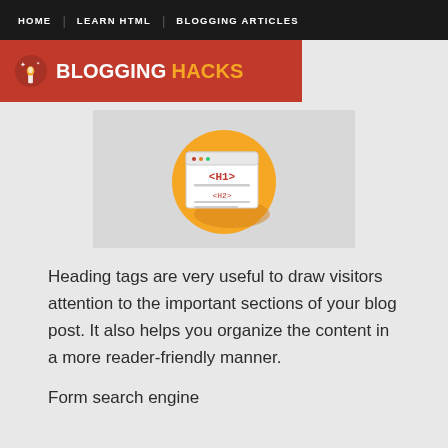HOME | LEARN HTML | BLOGGING ARTICLES
BLOGGING HACKS
[Figure (illustration): Icon showing a browser window with H1 and H2 heading tags on an orange circular background]
Heading tags are very useful to draw visitors attention to the important sections of your blog post. It also helps you organize the content in a more reader-friendly manner.
Form search engine